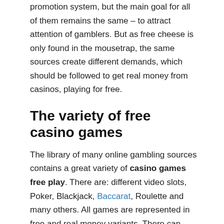promotion system, but the main goal for all of them remains the same – to attract attention of gamblers. But as free cheese is only found in the mousetrap, the same sources create different demands, which should be followed to get real money from casinos, playing for free.
The variety of free casino games
The library of many online gambling sources contains a great variety of casino games free play. There are: different video slots, Poker, Blackjack, Baccarat, Roulette and many others. All games are represented in free and real money variants. There can also be real money or free casino games no download, or variants with special clients, used to become a part of amazing gambling world.
Table games are generally the same in all hazard sources, but slots are absolutely another story. If to consider special